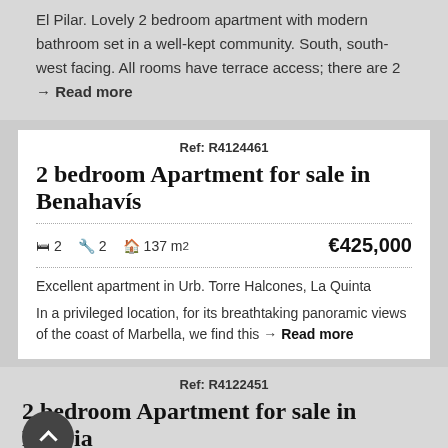El Pilar. Lovely 2 bedroom apartment with modern bathroom set in a well-kept community. South, south-west facing. All rooms have terrace access; there are 2 → Read more
Ref: R4124461
2 bedroom Apartment for sale in Benahavís
🛏 2  🔧 2  🏠 137 m²   €425,000
Excellent apartment in Urb. Torre Halcones, La Quinta
In a privileged location, for its breathtaking panoramic views of the coast of Marbella, we find this → Read more
Ref: R4122451
2 bedroom Apartment for sale in Elviria